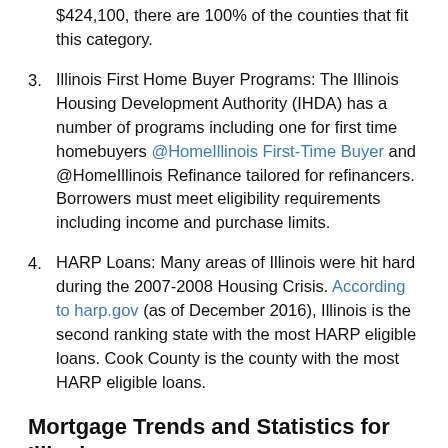$424,100, there are 100% of the counties that fit this category.
Illinois First Home Buyer Programs: The Illinois Housing Development Authority (IHDA) has a number of programs including one for first time homebuyers @HomeIllinois First-Time Buyer and @HomeIllinois Refinance tailored for refinancers. Borrowers must meet eligibility requirements including income and purchase limits.
HARP Loans: Many areas of Illinois were hit hard during the 2007-2008 Housing Crisis. According to harp.gov (as of December 2016), Illinois is the second ranking state with the most HARP eligible loans. Cook County is the county with the most HARP eligible loans.
Mortgage Trends and Statistics for Illinois
Mortgage rates, loan amounts, LTV, (etc) vary based on areas. The FHFA provides a useful insight into differences in conventional loans, based on Metropolitan